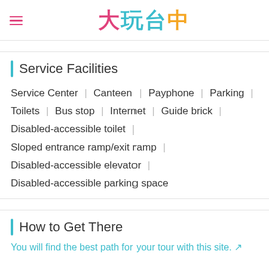大玩台中
Service Facilities
Service Center | Canteen | Payphone | Parking | Toilets | Bus stop | Internet | Guide brick | Disabled-accessible toilet | Sloped entrance ramp/exit ramp | Disabled-accessible elevator | Disabled-accessible parking space
How to Get There
You will find the best path for your tour with this site.